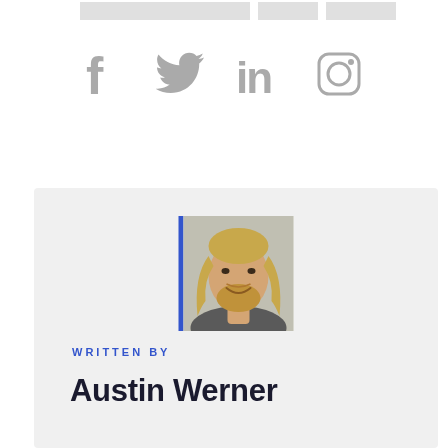[Figure (other): Top navigation bar with grey placeholder rectangles]
[Figure (other): Social media icons: Facebook, Twitter, LinkedIn, Instagram in grey]
[Figure (photo): Author photo of Austin Werner, a man with long blonde hair and beard, smiling, with a blue left border accent]
WRITTEN BY
Austin Werner